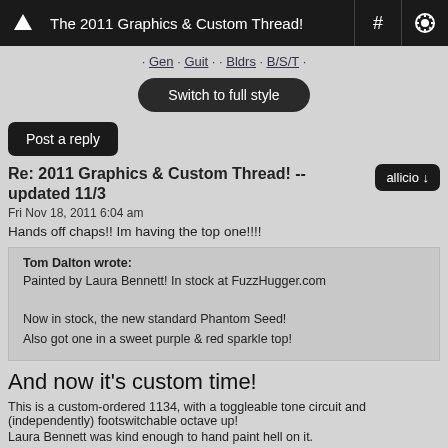The 2011 Graphics & Custom Thread!
· Gen · Guit · · Bldrs · B/S/T ·
Switch to full style
Post a reply
Re: 2011 Graphics & Custom Thread! -- updated 11/3
Fri Nov 18, 2011 6:04 am
Hands off chaps!! Im having the top one!!!!
Tom Dalton wrote:
Painted by Laura Bennett! In stock at FuzzHugger.com

Now in stock, the new standard Phantom Seed!

Also got one in a sweet purple & red sparkle top!
And now it's custom time!
This is a custom-ordered 1134, with a toggleable tone circuit and (independently) footswitchable octave up!
Laura Bennett was kind enough to hand paint hell on it.